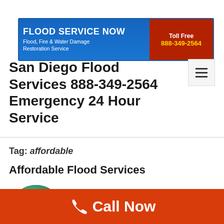[Figure (logo): Flood Service Now banner with blue background on the left showing 'FLOOD SERVICE NOW' and 'Flood, Fire & Water Damage Restoration Service', red background on the right showing 'Toll Free 888-349-2564']
San Diego Flood Services 888-349-2564 Emergency 24 Hour Service
Tag: affordable
Affordable Flood Services
[Figure (illustration): Round green circular icon showing a house with flood waters below it]
Affordable Flood Services in San Diego County offers 24 Hour Flood Services
Call Now